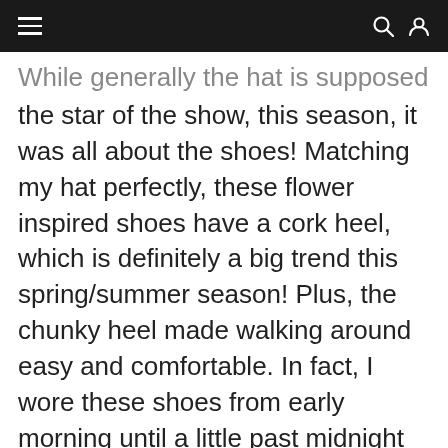≡   🔍 👤
While generally the hat is supposed to be the star of the show, this season, it was all about the shoes! Matching my hat perfectly, these flower inspired shoes have a cork heel, which is definitely a big trend this spring/summer season! Plus, the chunky heel made walking around easy and comfortable. In fact, I wore these shoes from early morning until a little past midnight and did plenty of walking in complete comfort! Additionally, these shoes are gentle on the environment (vegetable tanned leather and natural, recycled content fabrics), something that